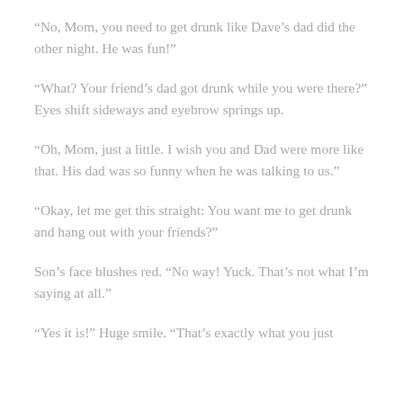“No, Mom, you need to get drunk like Dave’s dad did the other night. He was fun!”
“What? Your friend’s dad got drunk while you were there?” Eyes shift sideways and eyebrow springs up.
“Oh, Mom, just a little. I wish you and Dad were more like that. His dad was so funny when he was talking to us.”
“Okay, let me get this straight: You want me to get drunk and hang out with your friends?”
Son’s face blushes red. “No way! Yuck. That’s not what I’m saying at all.”
“Yes it is!” Huge smile. “That’s exactly what you just